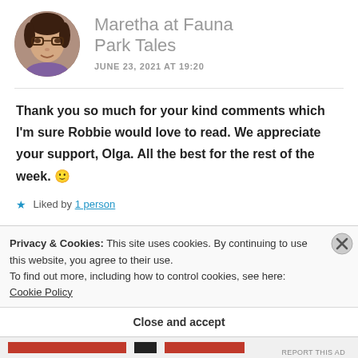Maretha at Fauna Park Tales
JUNE 23, 2021 AT 19:20
Thank you so much for your kind comments which I'm sure Robbie would love to read. We appreciate your support, Olga. All the best for the rest of the week. 🙂
Liked by 1 person
Privacy & Cookies: This site uses cookies. By continuing to use this website, you agree to their use.
To find out more, including how to control cookies, see here: Cookie Policy
Close and accept